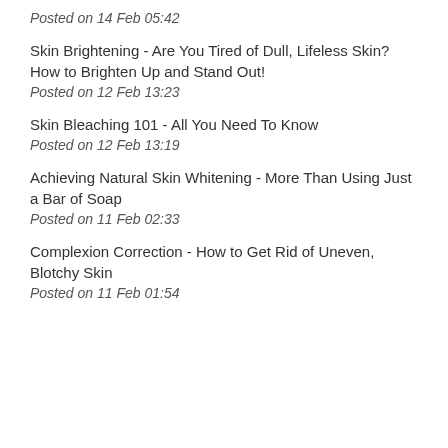Posted on 14 Feb 05:42
Skin Brightening - Are You Tired of Dull, Lifeless Skin? How to Brighten Up and Stand Out!
Posted on 12 Feb 13:23
Skin Bleaching 101 - All You Need To Know
Posted on 12 Feb 13:19
Achieving Natural Skin Whitening - More Than Using Just a Bar of Soap
Posted on 11 Feb 02:33
Complexion Correction - How to Get Rid of Uneven, Blotchy Skin
Posted on 11 Feb 01:54